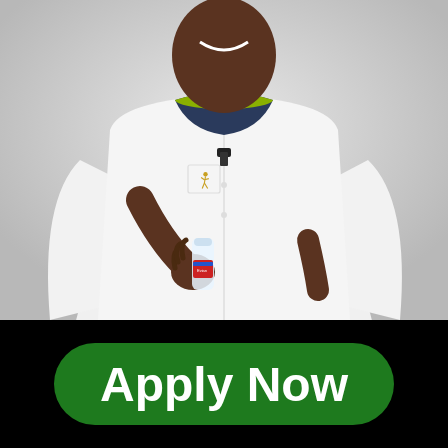[Figure (photo): A smiling man wearing a white long-sleeve button-up shirt with a small football player emblem on the chest pocket, a dark collar with yellow/green trim, and a lavalier microphone clipped to the shirt. He is holding a small plastic water bottle in his right hand. The background is light gray/white.]
Apply Now